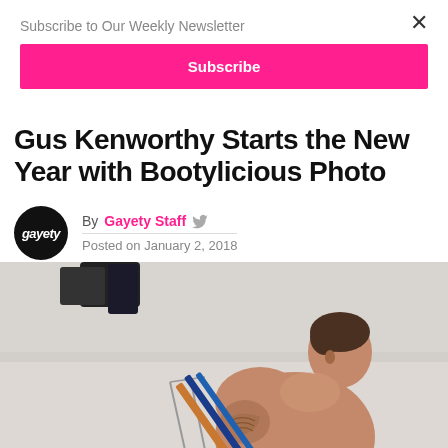Subscribe to Our Weekly Newsletter
Subscribe
Gus Kenworthy Starts the New Year with Bootylicious Photo
By Gayety Staff  Posted on January 2, 2018
[Figure (photo): Shirtless tattooed man carrying skis on his shoulders in a snowy mountain setting, looking over his shoulder]